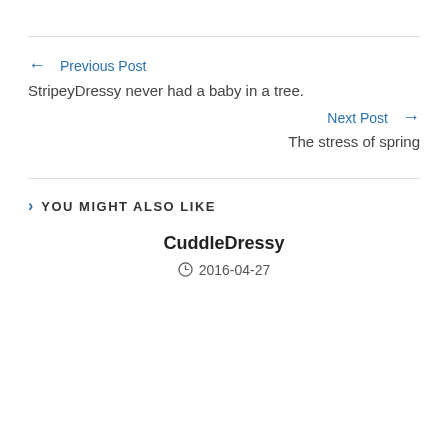← Previous Post
StripeyDressy never had a baby in a tree.
Next Post →
The stress of spring
> YOU MIGHT ALSO LIKE
CuddleDressy
🕐 2016-04-27